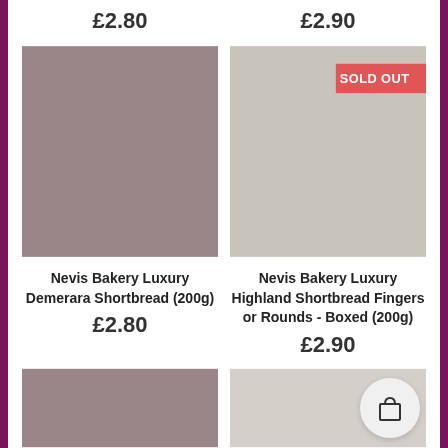£2.80
£2.90
[Figure (photo): Product image placeholder - mauve/grey color swatch for Nevis Bakery Luxury Demerara Shortbread]
[Figure (photo): Product image placeholder - light beige/grey color swatch for Nevis Bakery Luxury Highland Shortbread Fingers or Rounds Boxed, with SOLD OUT badge]
Nevis Bakery Luxury Demerara Shortbread (200g)
£2.80
Nevis Bakery Luxury Highland Shortbread Fingers or Rounds - Boxed (200g)
£2.90
[Figure (photo): Partial product image placeholder - mauve/grey color swatch at bottom left]
[Figure (photo): Partial product image placeholder - light beige color swatch at bottom right]